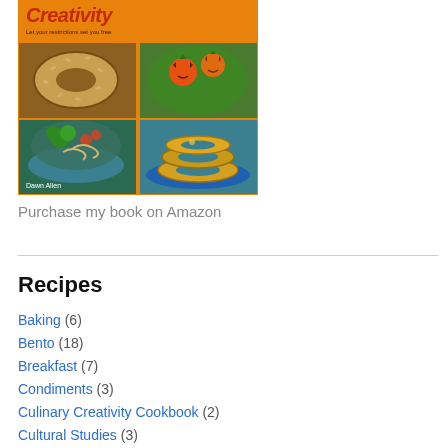[Figure (photo): Book cover for a culinary creativity cookbook by Dawn Allen, showing food photos including a bagel, pumpkin-shaped bento, vegetable salad, and onion rings on an orange background with the tagline 'Let your restrictions set you free']
Purchase my book on Amazon
Recipes
Baking (6)
Bento (18)
Breakfast (7)
Condiments (3)
Culinary Creativity Cookbook (2)
Cultural Studies (3)